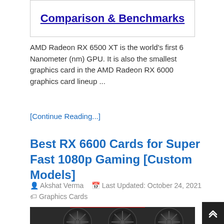Comparison & Benchmarks
AMD Radeon RX 6500 XT is the world's first 6 Nanometer (nm) GPU. It is also the smallest graphics card in the AMD Radeon RX 6000 graphics card lineup ...
[Continue Reading...]
Best RX 6600 Cards for Super Fast 1080p Gaming [Custom Models]
Akshat Verma   Last Updated: October 24, 2021   Graphics Cards
[Figure (photo): Photo of a graphics card (GPU) with fans visible, dark background]